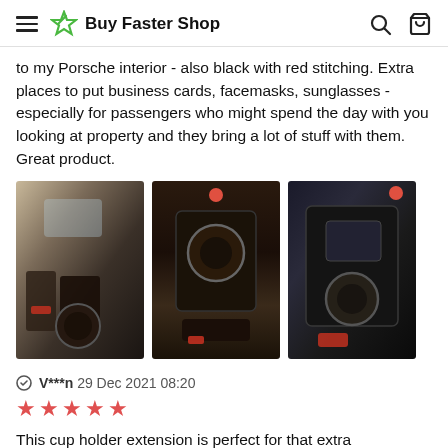Buy Faster Shop
to my Porsche interior - also black with red stitching. Extra places to put business cards, facemasks, sunglasses - especially for passengers who might spend the day with you looking at property and they bring a lot of stuff with them. Great product.
[Figure (photo): Three photos of car cup holder extension installed in black car interior with red accents]
V***n 29 Dec 2021 08:20
★★★★★ (5 red stars)
This cup holder extension is perfect for that extra